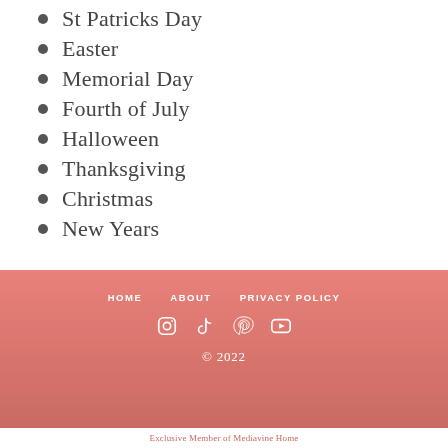St Patricks Day
Easter
Memorial Day
Fourth of July
Halloween
Thanksgiving
Christmas
New Years
HOME   ABOUT   PRIVACY POLICY
© 2022
Exclusive Member of Mediavine Home